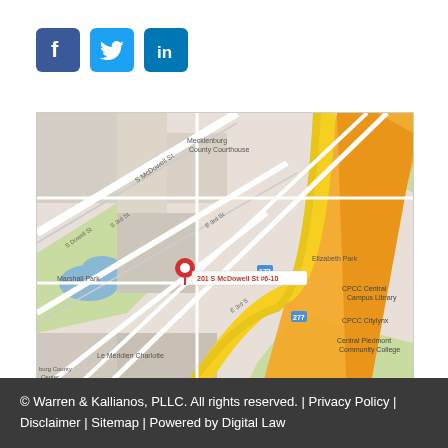[Figure (other): Social media icons: Facebook (blue square with f), Twitter (light blue square with bird), LinkedIn (blue square with in)]
[Figure (map): Google Maps showing location at 201 S McDowell St #6-10, Charlotte NC, with streets, orange highway (I-277), park areas, and surrounding landmarks including Mecklenburg County Courthouse, Marshall Park, Elizabeth Park, CPCC Central Campus Library, and Central Piedmont Community College]
© Warren & Kallianos, PLLC. All rights reserved. | Privacy Policy | Disclaimer | Sitemap | Powered by Digital Law